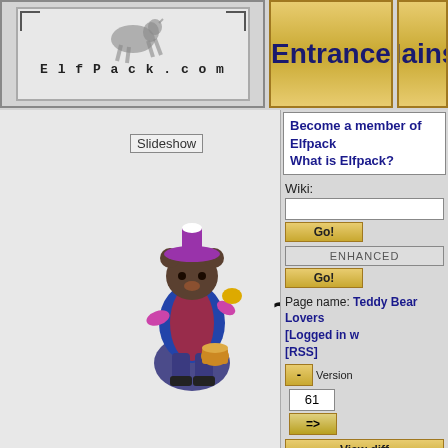[Figure (screenshot): ElfPack.com logo with running horse silhouette]
Entrance  Mainst
miscellaneous-wikis-of-artsieladie
Slideshow
Teddy Bear Lovers
[Figure (illustration): Animated teddy bear in blue coat with hat holding a bird]
~TEDDY BEAR
[Figure (illustration): Second animated teddy bear in blue coat]
LOVERS~
WELCOME!
JOIN TODAY IF YOU
L♥VE
TEDDY BEARS!
Become a member of Elfpack
What is Elfpack?
Wiki:
ENHANCED
Page name: Teddy Bear Lovers
[Logged in w
[RSS]
Version 61
View diff
2017-11-29 10:25:40
Last author: Faith.Hope.L
Owner: Faith.Hope.L